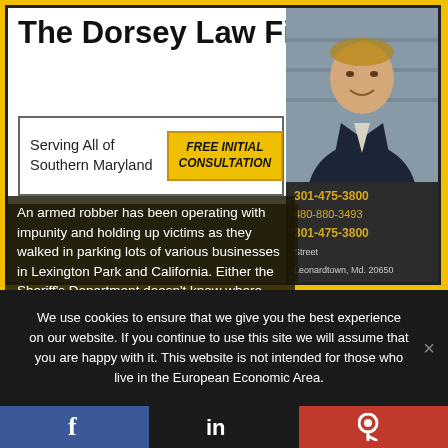[Figure (screenshot): Advertisement for The Dorsey Law Firm with lawyer photo, yellow and white design, serving Southern Maryland, free initial consultation, with overlaid news text about armed robberies]
An armed robber has been operating with impunity and holding up victims as they walked in parking lots of various businesses in Lexington Park and California. Either the Sheriff's Department doesn't know where these robberies took place or perhaps they simply forgot to include the information.
We use cookies to ensure that we give you the best experience on our website. If you continue to use this site we will assume that you are happy with it. This website is not intended for those who live in the European Economic Area.
[Figure (infographic): Social share bar with Facebook (blue), LinkedIn (dark), and Parler (red) icons]